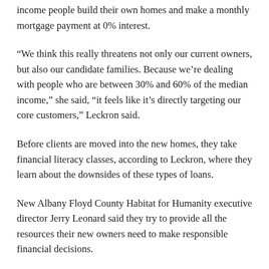income people build their own homes and make a monthly mortgage payment at 0% interest.
“We think this really threatens not only our current owners, but also our candidate families. Because we’re dealing with people who are between 30% and 60% of the median income,” she said, “it feels like it’s directly targeting our core customers,” Leckron said.
Before clients are moved into the new homes, they take financial literacy classes, according to Leckron, where they learn about the downsides of these types of loans.
New Albany Floyd County Habitat for Humanity executive director Jerry Leonard said they try to provide all the resources their new owners need to make responsible financial decisions.
In financial literacy classes, Leonard said they teach clients how to create and track a budget. Leonard tries to follow up with